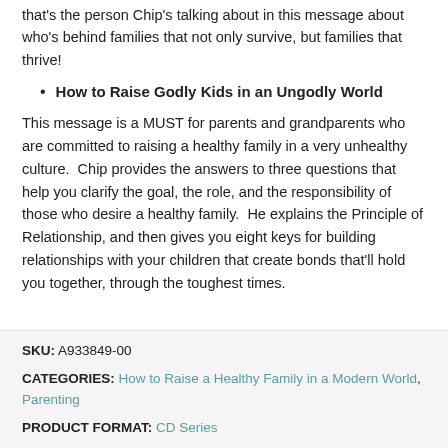that's the person Chip's talking about in this message about who's behind families that not only survive, but families that thrive!
How to Raise Godly Kids in an Ungodly World
This message is a MUST for parents and grandparents who are committed to raising a healthy family in a very unhealthy culture. Chip provides the answers to three questions that help you clarify the goal, the role, and the responsibility of those who desire a healthy family. He explains the Principle of Relationship, and then gives you eight keys for building relationships with your children that create bonds that'll hold you together, through the toughest times.
SKU: A933849-00
CATEGORIES: How to Raise a Healthy Family in a Modern World, Parenting
PRODUCT FORMAT: CD Series